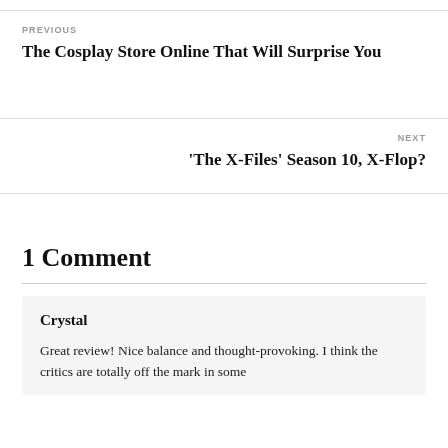PREVIOUS
The Cosplay Store Online That Will Surprise You
NEXT
'The X-Files' Season 10, X-Flop?
1 Comment
Crystal
Great review! Nice balance and thought-provoking. I think the critics are totally off the mark in some